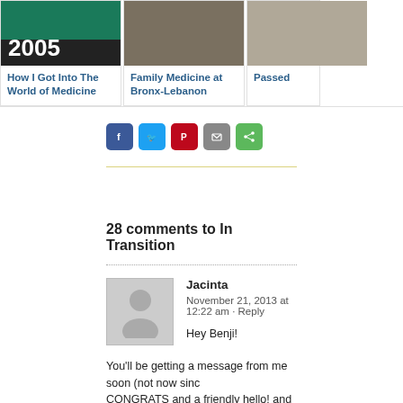[Figure (photo): Card: image with '2005' text overlay, green/dark background]
How I Got Into The World of Medicine
[Figure (photo): Card: Family Medicine at Bronx-Lebanon photo]
Family Medicine at Bronx-Lebanon
[Figure (photo): Card: Passed... (partially cropped photo)]
Passed
[Figure (infographic): Social share buttons: Facebook, Twitter, Pinterest, Email, Share]
28 comments to In Transition
Jacinta
November 21, 2013 at 12:22 am · Reply
Hey Benji!
You'll be getting a message from me soon (not now sinc CONGRATS and a friendly hello! and give Irene a big hu